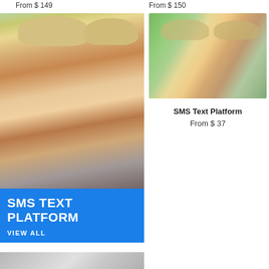From $ 149
From $ 150
[Figure (photo): Couple looking at phone with blue SMS TEXT PLATFORM overlay and VIEW ALL text]
[Figure (photo): Couple looking at phone outdoors]
SMS Text Platform
From $ 37
[Figure (photo): Partial bottom image with grey envelope/paper shapes]